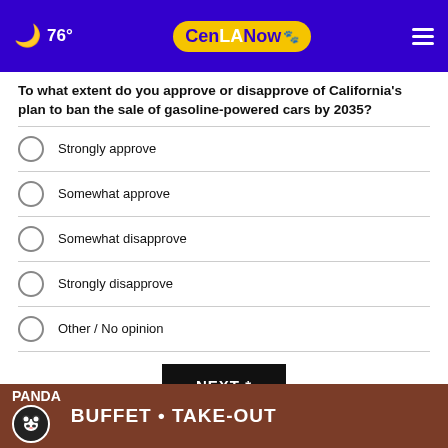🌙 76° CenLANow
To what extent do you approve or disapprove of California's plan to ban the sale of gasoline-powered cars by 2035?
Strongly approve
Somewhat approve
Somewhat disapprove
Strongly disapprove
Other / No opinion
NEXT *
* By clicking "NEXT" you agree to the following: We use cookies to track your survey answers. If you would like to continue with this survey, please read and agree to the CivicScience Privacy Policy and Terms of Service
[Figure (photo): Panda restaurant advertisement banner: PANDA BUFFET • TAKE-OUT]